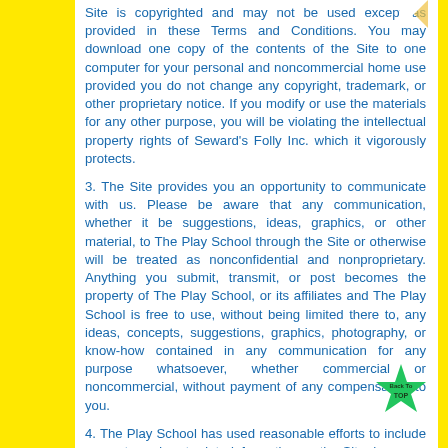Site is copyrighted and may not be used except as provided in these Terms and Conditions. You may download one copy of the contents of the Site to one computer for your personal and noncommercial home use provided you do not change any copyright, trademark, or other proprietary notice. If you modify or use the materials for any other purpose, you will be violating the intellectual property rights of Seward's Folly Inc. which it vigorously protects.
3. The Site provides you an opportunity to communicate with us. Please be aware that any communication, whether it be suggestions, ideas, graphics, or other material, to The Play School through the Site or otherwise will be treated as nonconfidential and nonproprietary. Anything you submit, transmit, or post becomes the property of The Play School, or its affiliates and The Play School is free to use, without being limited there to, any ideas, concepts, suggestions, graphics, photography, or know-how contained in any communication for any purpose whatsoever, whether commercial or noncommercial, without payment of any compensation to you.
4. The Play School has used reasonable efforts to include accurate and up-to-date information on the Site; however, makes no warranties or representation as to the accuracy its contents. Neither The Play School, Inc. nor any of its' affiliates assume any liability or responsibility for any errors